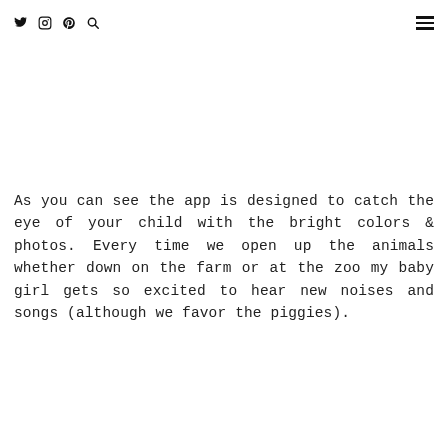Twitter Instagram Pinterest Search icons and hamburger menu
As you can see the app is designed to catch the eye of your child with the bright colors & photos. Every time we open up the animals whether down on the farm or at the zoo my baby girl gets so excited to hear new noises and songs (although we favor the piggies).